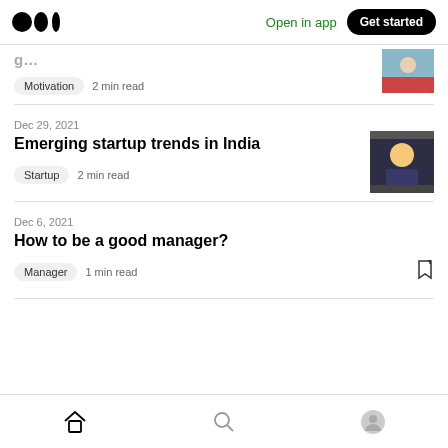Medium — Open in app | Get started
Motivation · 2 min read
Dec 29, 2021
Emerging startup trends in India
Startup · 2 min read
Dec 6, 2021
How to be a good manager?
Manager · 1 min read
Home | Search | Profile